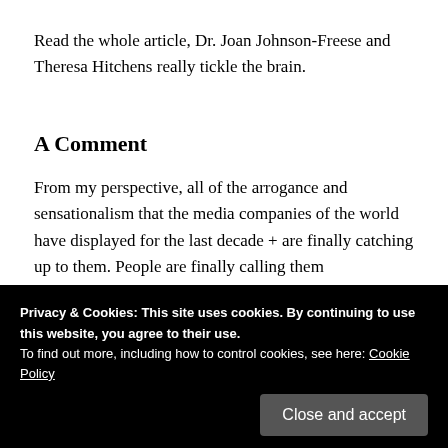Read the whole article, Dr. Joan Johnson-Freese and Theresa Hitchens really tickle the brain.
A Comment
From my perspective, all of the arrogance and sensationalism that the media companies of the world have displayed for the last decade + are finally catching up to them. People are finally calling them
Privacy & Cookies: This site uses cookies. By continuing to use this website, you agree to their use.
To find out more, including how to control cookies, see here: Cookie Policy
Close and accept